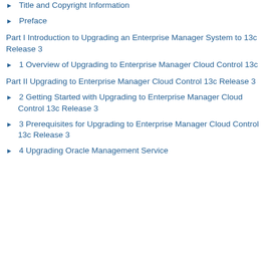Title and Copyright Information
Preface
Part I Introduction to Upgrading an Enterprise Manager System to 13c Release 3
1 Overview of Upgrading to Enterprise Manager Cloud Control 13c
Part II Upgrading to Enterprise Manager Cloud Control 13c Release 3
2 Getting Started with Upgrading to Enterprise Manager Cloud Control 13c Release 3
3 Prerequisites for Upgrading to Enterprise Manager Cloud Control 13c Release 3
4 Upgrading Oracle Management Service